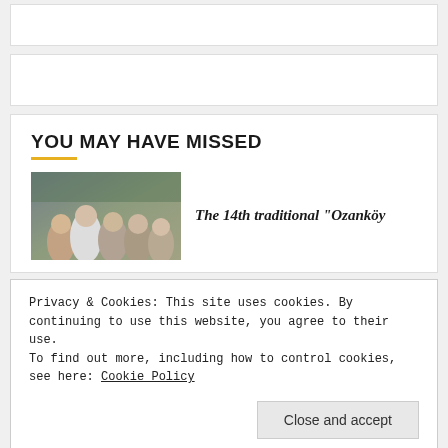[Figure (other): White card placeholder at top, partially visible]
[Figure (other): White card placeholder, second row, partially visible]
YOU MAY HAVE MISSED
[Figure (photo): Photo of group of people at an outdoor event, used as article thumbnail]
The 14th traditional “Ozanköy
Privacy & Cookies: This site uses cookies. By continuing to use this website, you agree to their use.
To find out more, including how to control cookies, see here: Cookie Policy
Close and accept
[Figure (photo): Article thumbnail photo at bottom, partially visible]
in Girne